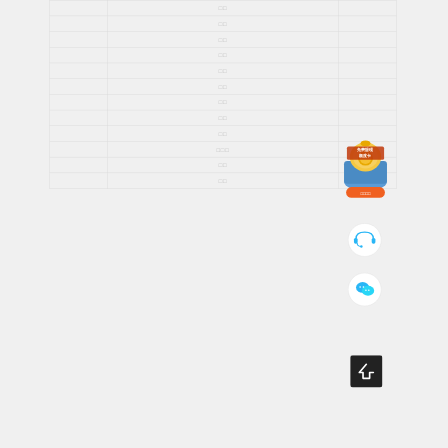|  | □□ |  |
|  | □□ |  |
|  | □□ |  |
|  | □□ |  |
|  | □□ |  |
|  | □□ |  |
|  | □□ |  |
|  | □□ |  |
|  | □□ |  |
|  | □□□ |  |
|  | □□ |  |
|  | □□ |  |
[Figure (illustration): Promotional card widget: '免费提现额度卡' (Free cash withdrawal quota card) with a button labeled '立即领取' (Claim now), shown as a bag of coins graphic on a blue envelope with an orange/red button]
[Figure (illustration): Customer service headset icon in a white circle button]
[Figure (illustration): WeChat icon (two overlapping chat bubbles) in a white circle button]
[Figure (illustration): Back-to-top arrow button in dark/black square]